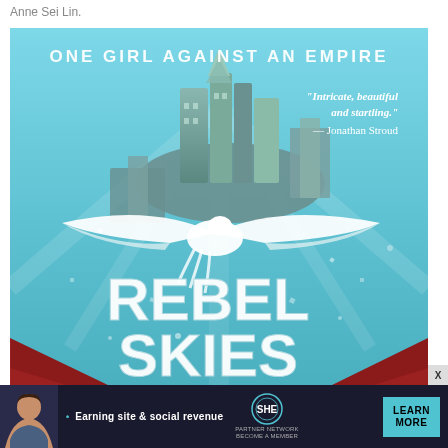Anne Sei Lin.
[Figure (illustration): Book cover for 'Rebel Skies' by Anne Sei Lin. Shows a fantasy floating city with a white bird with large wings in front. Text reads: 'ONE GIRL AGAINST AN EMPIRE', 'Intricate, beautiful and startling.' — Jonathan Stroud, 'REBEL SKIES'. Sky blue background with red tent corners at bottom.]
[Figure (infographic): Advertisement banner for SHE Media Partner Network. Shows a woman, text 'Earning site & social revenue', SHE media logo, and a 'LEARN MORE' button. Dark background.]